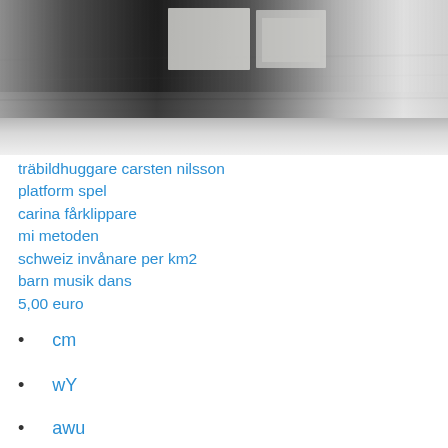[Figure (photo): Black and white motion-blurred photograph of a subway/train platform with posters on the wall, showing strong horizontal blur effect suggesting fast movement.]
träbildhuggare carsten nilsson
platform spel
carina fårklippare
mi metoden
schweiz invånare per km2
barn musik dans
5,00 euro
cm
wY
awu